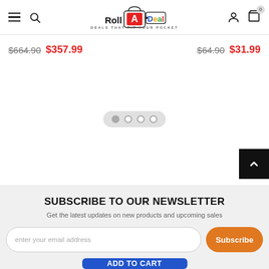Roll A Deal – DEALS THAT FIT YOUR POCKET
$664.90  $357.99    $64.90  $31.99
[Figure (screenshot): Pagination dots row with 4 circles, first filled]
[Figure (other): Back to top arrow button (black square with white chevron)]
SUBSCRIBE TO OUR NEWSLETTER
Get the latest updates on new products and upcoming sales
enter your email address
Subscribe
ADD TO CART